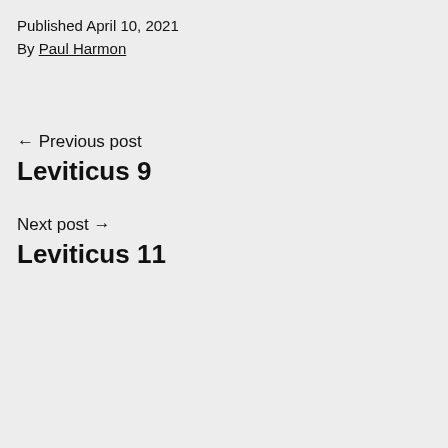Published April 10, 2021
By Paul Harmon
← Previous post
Leviticus 9
Next post →
Leviticus 11